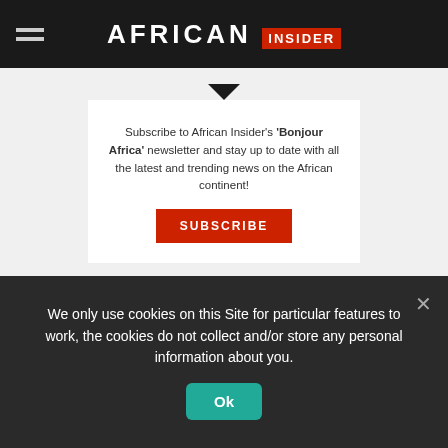AFRICAN INSIDER
Subscribe to African Insider's 'Bonjour Africa' newsletter and stay up to date with all the latest and trending news on the African continent!
SUBSCRIBE
Nkestsi recently found herself topping the Twitter charts after a local social media user claimed that they had spotted her with another man.
We only use cookies on this Site for particular features to work, the cookies do not collect and/or store any personal information about you.